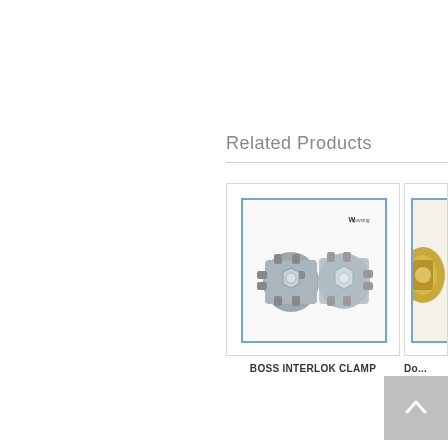Related Products
[Figure (photo): BOSS INTERLOK CLAMP product photo showing two metal pipe clamp fittings with screw bolts, with a logo 'govsing' in the top right corner of the image]
BOSS INTERLOK CLAMP
[Figure (photo): Partially visible second product photo (cropped at right edge) showing a golden/brass colored fitting]
Do...